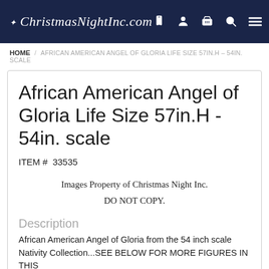ChristmasNightInc.com
HOME / AFRICAN AMERICAN ANGEL OF GLORIA LIFE SIZE 57IN.H – 54IN. SCALE
African American Angel of Gloria Life Size 57in.H - 54in. scale
ITEM #  33535
[Figure (other): Image placeholder with text: Images Property of Christmas Night Inc. DO NOT COPY.]
Description
African American Angel of Gloria from the 54 inch scale Nativity Collection...SEE BELOW FOR MORE FIGURES IN THIS